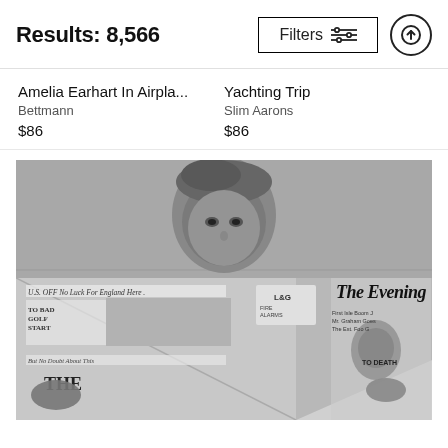Results: 8,566
Amelia Earhart In Airpla...
Bettmann
$86
Yachting Trip
Slim Aarons
$86
[Figure (photo): Black and white photograph of a man reading 'The Evening' newspaper. The man's face is visible above the newspaper, with headlines visible including 'U.S. OFF No Luck For England Here', 'TO BAD GOLF START', 'But No Doubt About This', 'The Evening [Standard]'.]